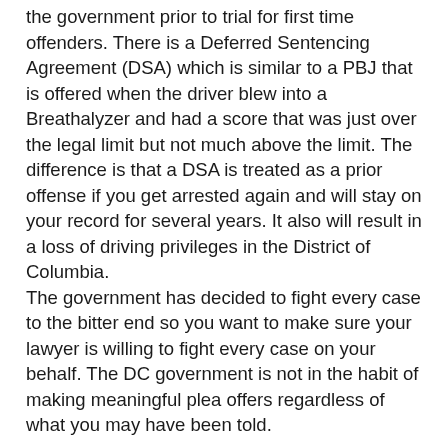the government prior to trial for first time offenders. There is a Deferred Sentencing Agreement (DSA) which is similar to a PBJ that is offered when the driver blew into a Breathalyzer and had a score that was just over the legal limit but not much above the limit. The difference is that a DSA is treated as a prior offense if you get arrested again and will stay on your record for several years. It also will result in a loss of driving privileges in the District of Columbia.
The government has decided to fight every case to the bitter end so you want to make sure your lawyer is willing to fight every case on your behalf. The DC government is not in the habit of making meaningful plea offers regardless of what you may have been told.
Every situation is different so you should talk to a lawyer who regularly handles drunk driving cases in the District of Columbia about your specific situation.
If you have been charged with any of these Washington, DC drunk driving offenses or any other DC crime, contact Attorney